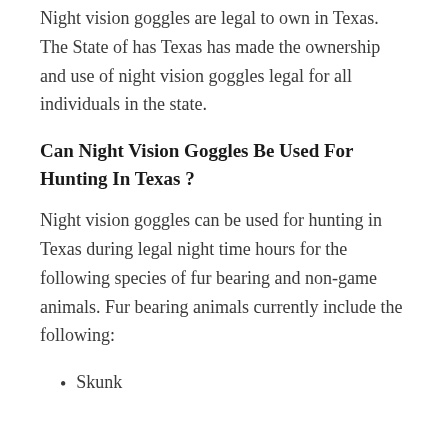Night vision goggles are legal to own in Texas. The State of has Texas has made the ownership and use of night vision goggles legal for all individuals in the state.
Can Night Vision Goggles Be Used For Hunting In Texas ?
Night vision goggles can be used for hunting in Texas during legal night time hours for the following species of fur bearing and non-game animals. Fur bearing animals currently include the following:
Skunk